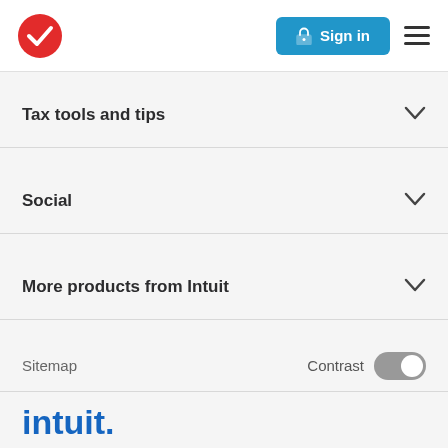[Figure (logo): TurboTax red circle checkmark logo at top left]
[Figure (other): Blue 'Sign in' button with lock icon and hamburger menu icon at top right]
Tax tools and tips
Social
More products from Intuit
Sitemap
Contrast
[Figure (other): Social media icons row: YouTube, RSS, Facebook, Twitter, Instagram, Tumblr in blue]
[Figure (logo): Intuit logo in blue at the bottom left]